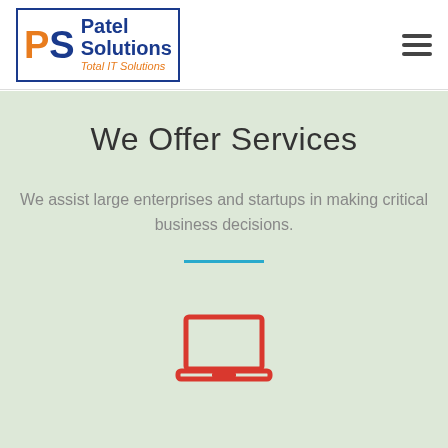[Figure (logo): Patel Solutions logo with orange P and blue S letters, text reading Patel Solutions Total IT Solutions]
[Figure (other): Hamburger menu icon (three horizontal lines)]
We Offer Services
We assist large enterprises and startups in making critical business decisions.
[Figure (other): Horizontal cyan/blue divider line]
[Figure (illustration): Red outline laptop computer icon]